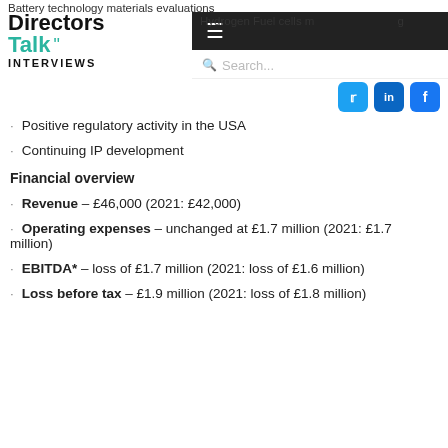Battery technology materials evaluations
Directors Talk Interviews — navigation bar with hamburger menu, search, and social icons
Hydrogen Fuel cells m... (partially obscured)
Positive regulatory activity in the USA
Continuing IP development
Financial overview
Revenue – £46,000 (2021: £42,000)
Operating expenses – unchanged at £1.7 million (2021: £1.7 million)
EBITDA* – loss of £1.7 million (2021: loss of £1.6 million)
Loss before tax – £1.9 million (2021: loss of £1.8 million)